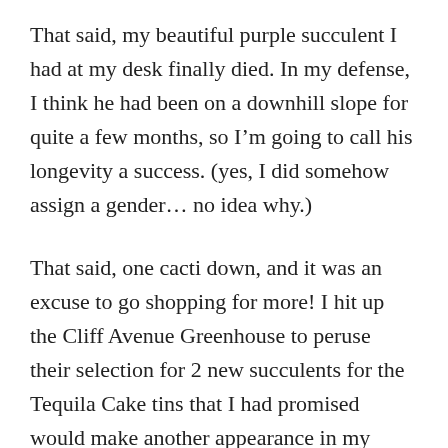That said, my beautiful purple succulent I had at my desk finally died. In my defense, I think he had been on a downhill slope for quite a few months, so I'm going to call his longevity a success. (yes, I did somehow assign a gender… no idea why.)
That said, one cacti down, and it was an excuse to go shopping for more! I hit up the Cliff Avenue Greenhouse to peruse their selection for 2 new succulents for the Tequila Cake tins that I had promised would make another appearance in my Hola Mexico! post.